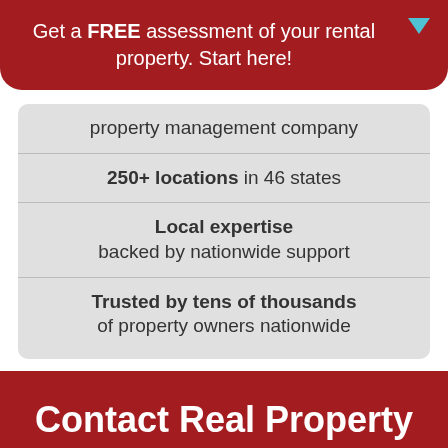Get a FREE assessment of your rental property. Start here!
property management company
250+ locations in 46 states
Local expertise
backed by nationwide support
Trusted by tens of thousands
of property owners nationwide
Contact Real Property Management Imagine
Please fill out the form below to get in touch...